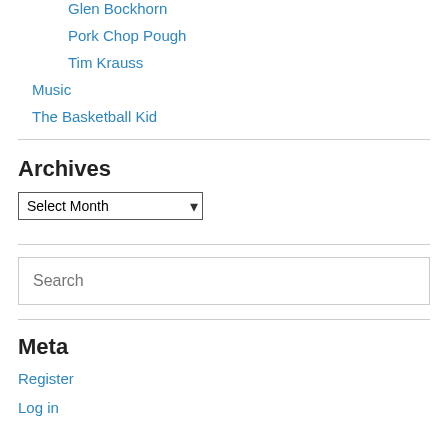Glen Bockhorn
Pork Chop Pough
Tim Krauss
Music
The Basketball Kid
Archives
Select Month
Search
Meta
Register
Log in